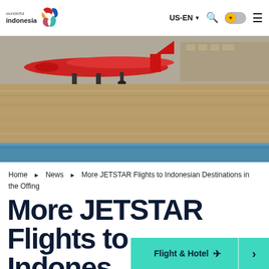wonderful indonesia | US-EN
[Figure (photo): Airplane landing or taking off on a runway, with ground-level view showing undercarriage and tarmac; crowd or texture visible in the background]
Home ▶ News ▶ More JETSTAR Flights to Indonesian Destinations in the Offing
More JETSTAR Flights to Indonesian Destinations